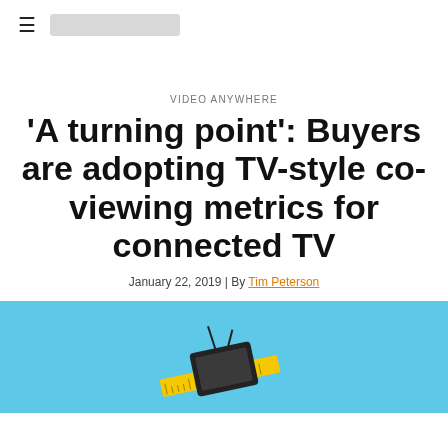≡ [logo]
VIDEO ANYWHERE
'A turning point': Buyers are adopting TV-style co-viewing metrics for connected TV
January 22, 2019 | By Tim Peterson
[Figure (illustration): Illustration of a TV with antennas and a ruler on a blue background, suggesting measurement of connected TV viewing.]